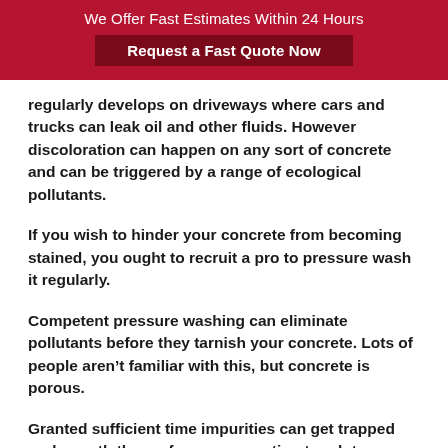We Offer Fast Estimates Within 24 Hours
Request a Fast Quote Now
regularly develops on driveways where cars and trucks can leak oil and other fluids. However discoloration can happen on any sort of concrete and can be triggered by a range of ecological pollutants.
If you wish to hinder your concrete from becoming stained, you ought to recruit a pro to pressure wash it regularly.
Competent pressure washing can eliminate pollutants before they tarnish your concrete. Lots of people aren’t familiar with this, but concrete is porous.
Granted sufficient time impurities can get trapped underneath the surface area creating tough to remove discolorations.